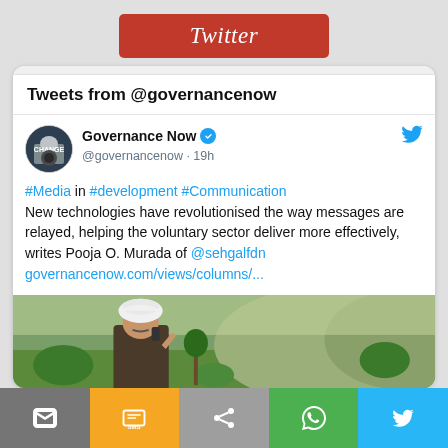Twitter
Tweets from @governancenow
Governance Now @governancenow · 19h
#Media in #development #Communication New technologies have revolutionised the way messages are relayed, helping the voluntary sector deliver more effectively, writes Pooja O. Murada of @sehgalfdn governancenow.com/views/columns/...
[Figure (photo): An elderly man wearing a white turban talking on a mobile phone in a rural/agricultural setting with green fields and hills in the background]
Email | SMS | Share | WhatsApp | Twitter